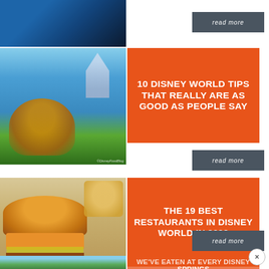[Figure (photo): Partial image of blue structure with dark background at top]
read more
[Figure (photo): Person holding a Mickey-shaped pretzel with Cinderella Castle in background at Disney World]
10 DISNEY WORLD TIPS THAT REALLY ARE AS GOOD AS PEOPLE SAY
read more
[Figure (photo): Cheeseburger with fries in a metal basket at a Disney World restaurant]
THE 19 BEST RESTAURANTS IN DISNEY WORLD IN 2022
read more
[Figure (photo): Partial image of palm trees and blue sky]
WE'VE EATEN AT EVERY DISNEY SPRINGS